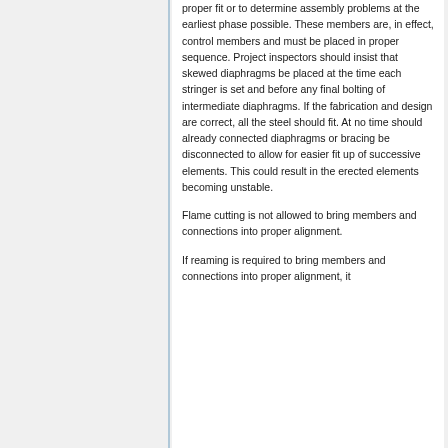proper fit or to determine assembly problems at the earliest phase possible. These members are, in effect, control members and must be placed in proper sequence. Project inspectors should insist that skewed diaphragms be placed at the time each stringer is set and before any final bolting of intermediate diaphragms. If the fabrication and design are correct, all the steel should fit. At no time should already connected diaphragms or bracing be disconnected to allow for easier fit up of successive elements. This could result in the erected elements becoming unstable.
Flame cutting is not allowed to bring members and connections into proper alignment.
If reaming is required to bring members and connections into proper alignment, it